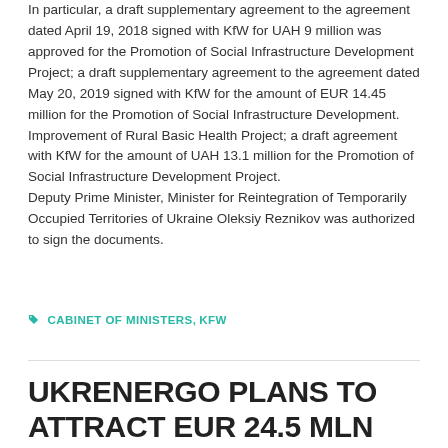In particular, a draft supplementary agreement to the agreement dated April 19, 2018 signed with KfW for UAH 9 million was approved for the Promotion of Social Infrastructure Development Project; a draft supplementary agreement to the agreement dated May 20, 2019 signed with KfW for the amount of EUR 14.45 million for the Promotion of Social Infrastructure Development. Improvement of Rural Basic Health Project; a draft agreement with KfW for the amount of UAH 13.1 million for the Promotion of Social Infrastructure Development Project. Deputy Prime Minister, Minister for Reintegration of Temporarily Occupied Territories of Ukraine Oleksiy Reznikov was authorized to sign the documents.
CABINET OF MINISTERS, KFW
UKRENERGO PLANS TO ATTRACT EUR 24.5 MLN FROM KFW